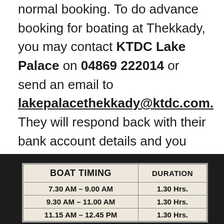normal booking. To do advance booking for boating at Thekkady, you may contact KTDC Lake Palace on 04869 222014 or send an email to lakepalacethekkady@ktdc.com. They will respond back with their bank account details and you can proceed with booking. To take normal ticket, you need to be in queue and need to produce ID card and your personal details.
[Figure (photo): A photograph of a boat timing sign board showing BOAT TIMING and DURATION columns with time slots]
| BOAT TIMING | DURATION |
| --- | --- |
| 7.30 AM – 9.00 AM | 1.30 Hrs. |
| 9.30 AM – 11.00 AM | 1.30 Hrs. |
| 11.15 AM – 12.45 PM | 1.30 Hrs. |